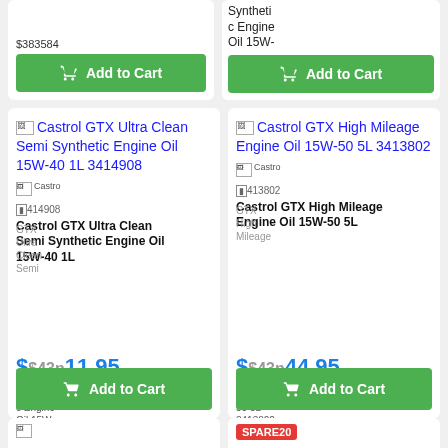[Figure (screenshot): Top partial product cards with Add to Cart buttons. Left card cut off at top. Right card shows partial text: Synthetic c Engine Oil 15W-]
[Figure (screenshot): Product card: Castrol GTX Ultra Clean Semi Synthetic Engine Oil 15W-40 1L 3414908. Price $11.95. Add to Cart button.]
[Figure (screenshot): Product card: Castrol GTX High Mileage Engine Oil 15W-50 5L 3413802. Price $44.95. Add to Cart button.]
[Figure (screenshot): Bottom partial cards. Left card partially visible. Right card shows SPARE20 badge.]